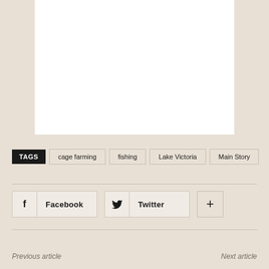[Figure (other): White rectangular image placeholder area]
TAGS  cage farming  fishing  Lake Victoria  Main Story
Facebook  Twitter  +
Previous article    Next article